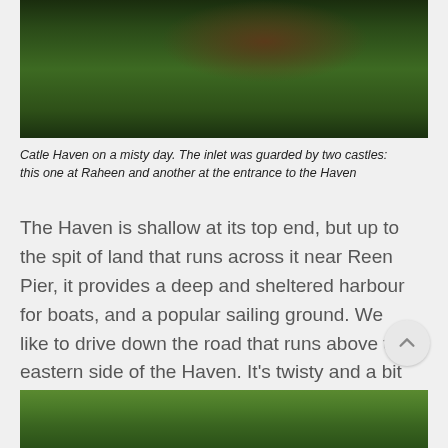[Figure (photo): Photograph of Catle Haven on a misty day, showing dense green trees and foliage with a church spire and telegraph pole visible in the background]
Catle Haven on a misty day. The inlet was guarded by two castles: this one at Raheen and another at the entrance to the Haven
The Haven is shallow at its top end, but up to the spit of land that runs across it near Reen Pier, it provides a deep and sheltered harbour for boats, and a popular sailing ground. We like to drive down the road that runs above the eastern side of the Haven. It's twisty and a bit treacherous but at a certain point it presents a view of the whole inlet, dominated by Raheen Castle.
[Figure (photo): Aerial or elevated photograph showing dense green forest/woodland with what appears to be a conical green mound or hill in the center]